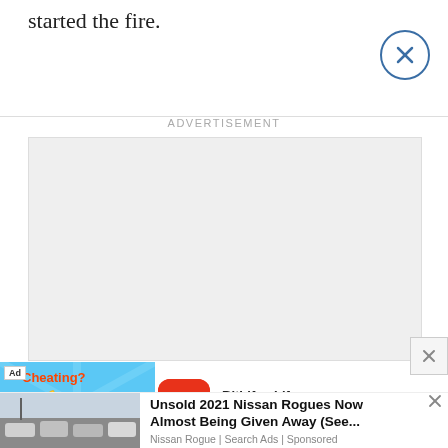started the fire.
ADVERTISEMENT
[Figure (other): Gray placeholder advertisement box]
[Figure (other): BitLife - Life Simulator app advertisement banner with blue background, muscle emoji and lightning bolt graphic, BitLife icon (red), text: BitLife - Life Simulator]
[Figure (other): Unsold 2021 Nissan Rogues Now Almost Being Given Away (See... - Nissan Rogue Search Ads Sponsored advertisement with car lot image]